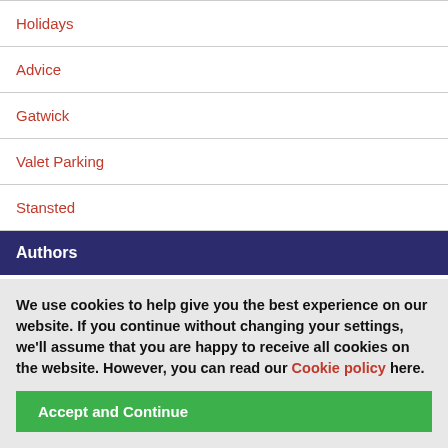Holidays
Advice
Gatwick
Valet Parking
Stansted
Authors
admin
Sarah Anglim
Stephen
We use cookies to help give you the best experience on our website. If you continue without changing your settings, we'll assume that you are happy to receive all cookies on the website. However, you can read our Cookie policy here.
Accept and Continue